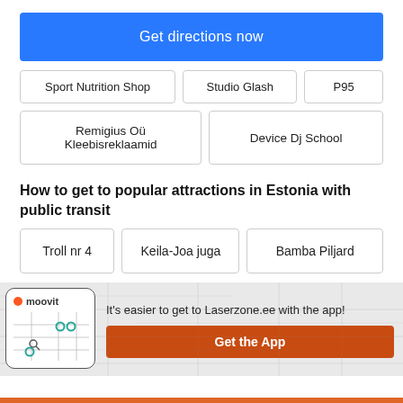Get directions now
Sport Nutrition Shop
Studio Glash
P95
Remigius Oü Kleebisreklaamid
Device Dj School
How to get to popular attractions in Estonia with public transit
Troll nr 4
Keila-Joa juga
Bamba Piljard
[Figure (screenshot): Moovit app screenshot showing map with route dots]
It's easier to get to Laserzone.ee with the app!
Get the App